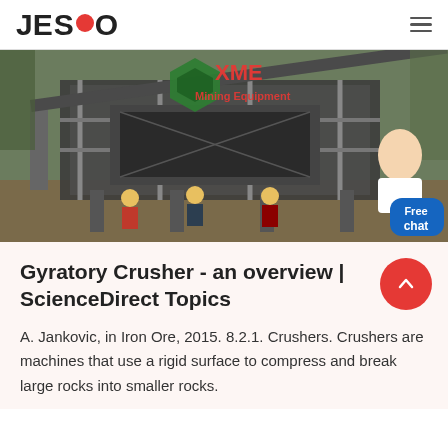JESCO
[Figure (photo): Mining equipment facility with large industrial crushers/screens, workers in hard hats visible in foreground. XME Mining Equipment logo overlay in green and red text.]
Gyratory Crusher - an overview | ScienceDirect Topics
A. Jankovic, in Iron Ore, 2015. 8.2.1. Crushers. Crushers are machines that use a rigid surface to compress and break large rocks into smaller rocks.